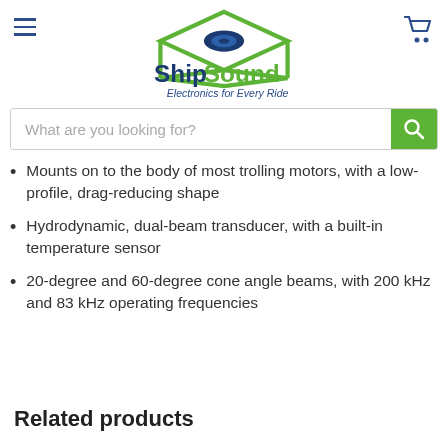ShipSound — Electronics for Every Ride
What are you looking for?
Mounts on to the body of most trolling motors, with a low-profile, drag-reducing shape
Hydrodynamic, dual-beam transducer, with a built-in temperature sensor
20-degree and 60-degree cone angle beams, with 200 kHz and 83 kHz operating frequencies
Related products